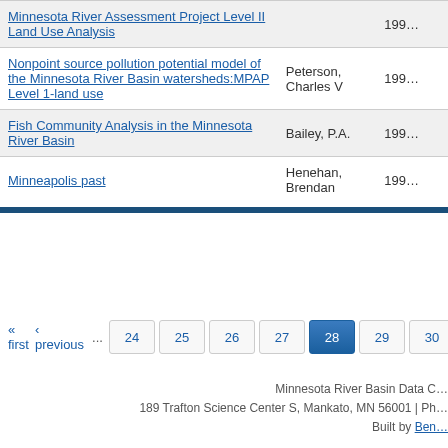| Title | Author | Year |
| --- | --- | --- |
| Minnesota River Assessment Project Level II Land Use Analysis |  | 199… |
| Nonpoint source pollution potential model of the Minnesota River Basin watersheds:MPAP Level 1-land use | Peterson, Charles V | 199… |
| Fish Community Analysis in the Minnesota River Basin | Bailey, P.A. | 199… |
| Minneapolis past | Henehan, Brendan | 199… |
« first ‹ previous ... 24 25 26 27 28 29 30 31 32 ...
Minnesota River Basin Data C… 189 Trafton Science Center S, Mankato, MN 56001 | Ph… Built by Ben…